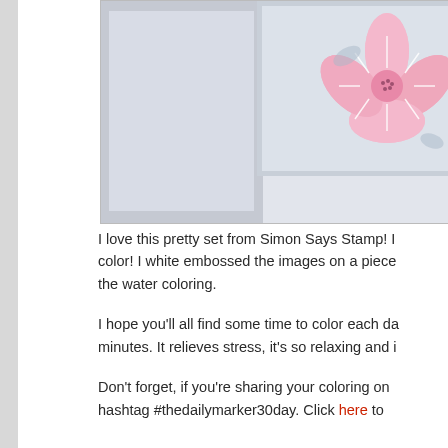[Figure (photo): A crafting/stamping image showing a pink flower with white embossing on a light blue-gray background card. The flower has detailed petals with white outlines and a center with small dots. Partially visible, cropped at right edge.]
I love this pretty set from Simon Says Stamp! I color! I white embossed the images on a piece the water coloring.
I hope you'll all find some time to color each da minutes. It relieves stress, it's so relaxing and i
Don't forget, if you're sharing your coloring on hashtag #thedailymarker30day. Click here to